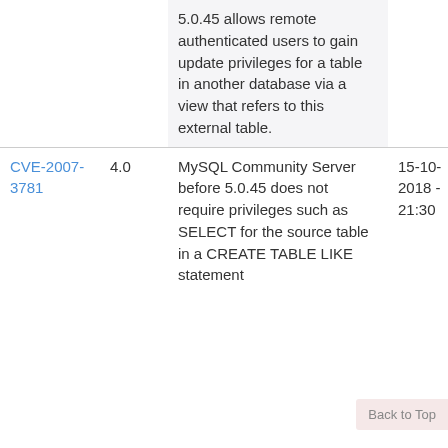| CVE | Score | Description | Published | Modified |
| --- | --- | --- | --- | --- |
|  |  | 5.0.45 allows remote authenticated users to gain update privileges for a table in another database via a view that refers to this external table. |  |  |
| CVE-2007-3781 | 4.0 | MySQL Community Server before 5.0.45 does not require privileges such as SELECT for the source table in a CREATE TABLE LIKE statement... | 15-10-2018 - 21:30 | 15-07-2007 - 22:30 |